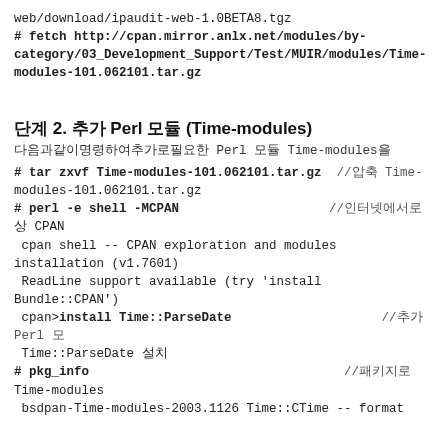web/download/ipaudit-web-1.0BETA8.tgz
# fetch http://cpan.mirror.anlx.net/modules/by-category/03_Development_Support/Test/MUIR/modules/Time-modules-101.062101.tar.gz
단계 2. 추가 Perl 모듈 (Time-modules)
다음과같이명령하여추가로필요한 Perl 모듈 Time-modules을
# tar zxvf Time-modules-101.062101.tar.gz  //압축 Time-modules-101.062101.tar.gz
# perl -e shell -MCPAN                    //인터넷에서로
CPAN
 cpan shell -- CPAN exploration and modules installation (v1.7601)
 ReadLine support available (try 'install Bundle::CPAN')
 cpan>install Time::ParseDate                //추가 Perl 모
 Time::ParseDate 설치
# pkg_info                                  //패키지로
Time-modules
 bsdpan-Time-modules-2003.1126 Time::CTime -- format